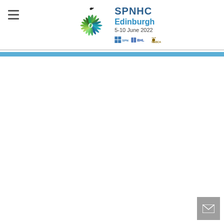SPNHC Edinburgh 5-10 June 2022
[Figure (logo): SPNHC Edinburgh 5-10 June 2022 conference logo with a green and teal spiral/sunburst design, conference name and date, and partner organization logos (SPNHC, BHL, NUSCA)]